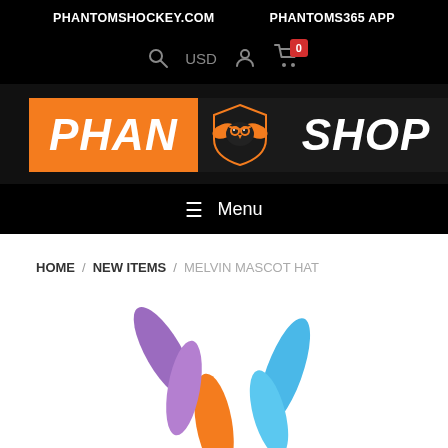PHANTOMSHOCKEY.COM   PHANTOMS365 APP
[Figure (logo): Phan Shop logo — orange panel with PHAN in white italic bold, center Phantoms owl mascot logo, black panel with SHOP in white italic bold]
≡  Menu
HOME / NEW ITEMS / MELVIN MASCOT HAT
[Figure (photo): Colorful balloon animal hands/fingers in purple, blue, and orange against a white background — partial product image of Melvin Mascot Hat]